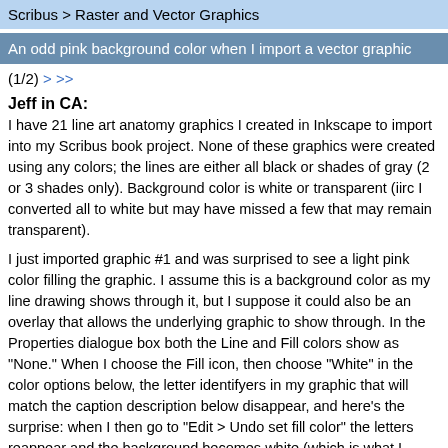Scribus > Raster and Vector Graphics
An odd pink background color when I import a vector graphic
(1/2) > >>
Jeff in CA:
I have 21 line art anatomy graphics I created in Inkscape to import into my Scribus book project. None of these graphics were created using any colors; the lines are either all black or shades of gray (2 or 3 shades only). Background color is white or transparent (iirc I converted all to white but may have missed a few that may remain transparent).
I just imported graphic #1 and was surprised to see a light pink color filling the graphic. I assume this is a background color as my line drawing shows through it, but I suppose it could also be an overlay that allows the underlying graphic to show through. In the Properties dialogue box both the Line and Fill colors show as "None." When I choose the Fill icon, then choose "White" in the color options below, the letter identifyers in my graphic that will match the caption description below disappear, and here's the surprise: when I then go to "Edit > Undo set fill color" the letters reappear and the background becomes white (which is what I want).